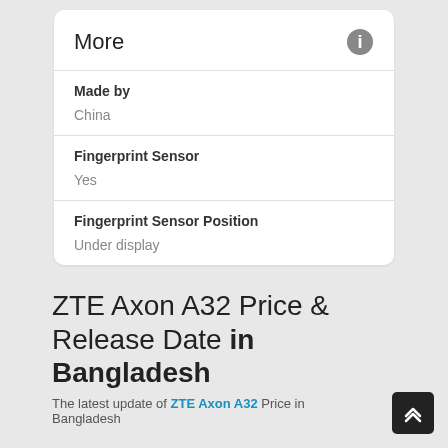More
| Field | Value |
| --- | --- |
| Made by | China |
| Fingerprint Sensor | Yes |
| Fingerprint Sensor Position | Under display |
ZTE Axon A32 Price & Release Date in Bangladesh
The latest update of ZTE Axon A32 Price in Bangladesh